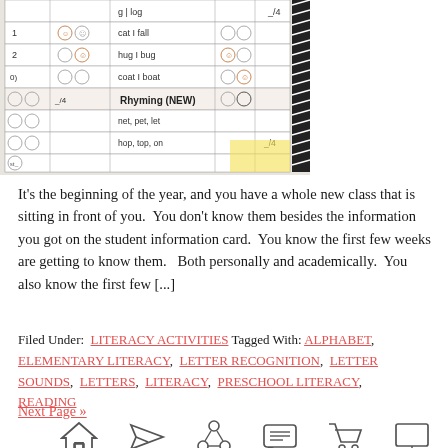[Figure (photo): Close-up photograph of a literacy assessment tracking sheet with rows for rhyming words (cat/fall, hug/bug, coat/boat, net/pet/let, hop/top) and smiley face icons for scoring. Paper appears to be a classroom assessment tool.]
It’s the beginning of the year, and you have a whole new class that is sitting in front of you.  You don’t know them besides the information you got on the student information card.  You know the first few weeks are getting to know them.   Both personally and academically.  You also know the first few [...]
Filed Under:  LITERACY ACTIVITIES Tagged With: ALPHABET, ELEMENTARY LITERACY,  LETTER RECOGNITION,  LETTER SOUNDS,  LETTERS,  LITERACY,  PRESCHOOL LITERACY,  READING
Next Page »
[Figure (illustration): Row of small icon illustrations at the bottom: house (home), paper airplane (newsletter), network nodes (connect), speech bubble with lines (message), shopping cart (cart), computer monitor (help).]